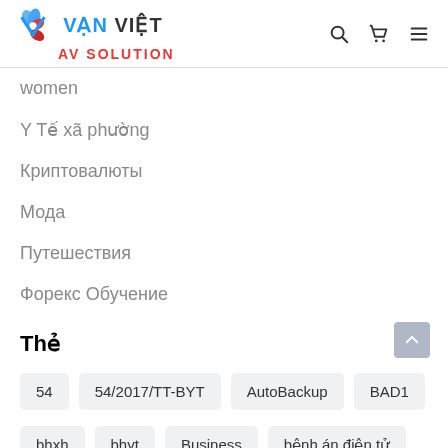Vạn Việt AV SOLUTION
women
Y Tế xã phường
Криптовалюты
Мода
Путешествия
Форекс Обучение
Thẻ
54
54/2017/TT-BYT
AutoBackup
BAD1
bhxh
bhyt
Business
bệnh án điện tử